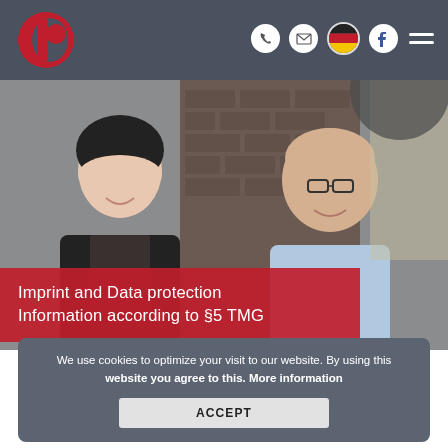Navigation header with logo, phone, email, German flag, Facebook, and menu icons
[Figure (photo): Two smiling professionals — a woman with dark hair in a black blazer and a man with glasses in a light blue shirt — photographed in front of a brick wall background]
Imprint and Data protection
Information according to §5 TMG
We use cookies to optimize your visit to our website. By using this website you agree to this. More information
ACCEPT